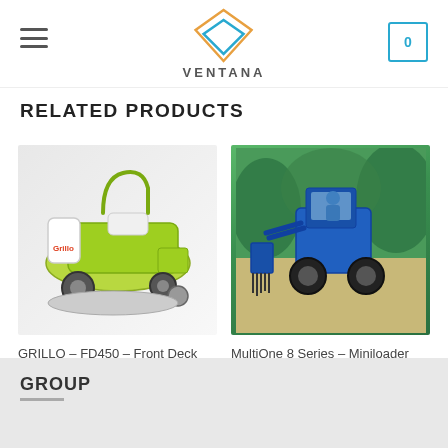VENTANA
RELATED PRODUCTS
[Figure (photo): Green Grillo FD450 front deck ride-on mower on white background]
GRILLO – FD450 – Front Deck Mower
[Figure (photo): Blue MultiOne 8 Series miniloader with rake attachment working in a field]
MultiOne 8 Series – Miniloader
GROUP